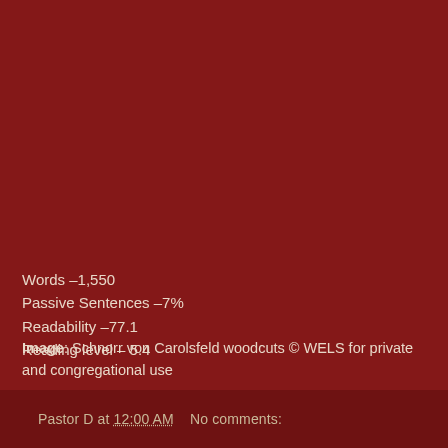Words –1,550
Passive Sentences –7%
Readability –77.1
Reading level – 5.4
Image: Schnorr von Carolsfeld woodcuts © WELS for private and congregational use
Pastor D at 12:00 AM    No comments: